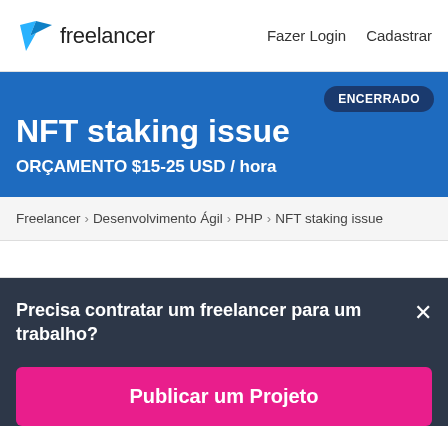freelancer | Fazer Login | Cadastrar
NFT staking issue
ORÇAMENTO $15-25 USD / hora
ENCERRADO
Freelancer › Desenvolvimento Ágil › PHP › NFT staking issue
Precisa contratar um freelancer para um trabalho?
Publicar um Projeto